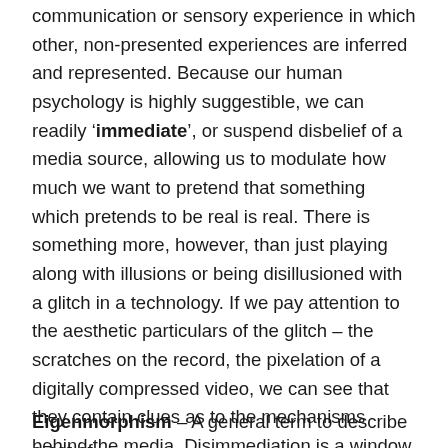communication or sensory experience in which other, non-presented experiences are inferred and represented. Because our human psychology is highly suggestible, we can readily 'immediate', or suspend disbelief of a media source, allowing us to modulate how much we want to pretend that something which pretends to be real is real. There is something more, however, than just playing along with illusions or being disillusioned with a glitch in a technology. If we pay attention to the aesthetic particulars of the glitch – the scratches on the record, the pixelation of a digitally compressed video, we can see that they contain clues as to the mechanisms behind the media. Disimmediation is a window into other PIFs, to optics or computation, analog or digital recording, screenwriting and theatrical production, etc.
Eigenmorphism – A general term to describe a set of